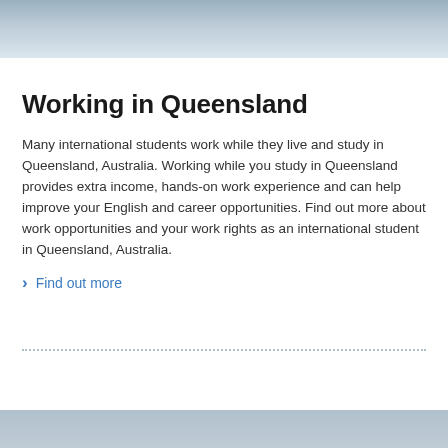[Figure (photo): Top portion of a photograph showing a person holding a camera, partially cropped]
Working in Queensland
Many international students work while they live and study in Queensland, Australia. Working while you study in Queensland provides extra income, hands-on work experience and can help improve your English and career opportunities. Find out more about work opportunities and your work rights as an international student in Queensland, Australia.
Find out more
[Figure (photo): Bottom photograph partially visible, cropped at the bottom of the page]